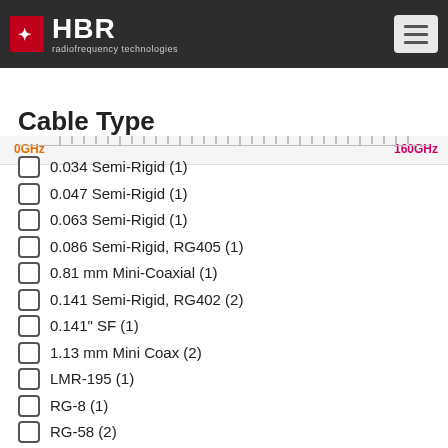HBR radiofrequency technologies
[Figure (infographic): Frequency range bar from 0GHz to 160GHz with tick marks]
Cable Type
0.034 Semi-Rigid (1)
0.047 Semi-Rigid (1)
0.063 Semi-Rigid (1)
0.086 Semi-Rigid, RG405 (1)
0.81 mm Mini-Coaxial (1)
0.141 Semi-Rigid, RG402 (2)
0.141" SF (1)
1.13 mm Mini Coax (2)
LMR-195 (1)
RG-8 (1)
RG-58 (2)
RG-142 (1)
RG-174 (2)